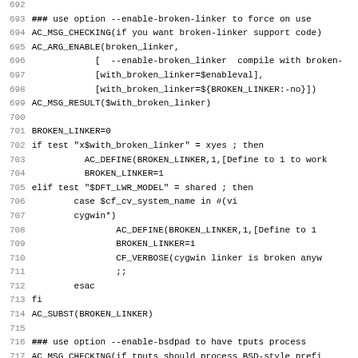Code listing lines 692-723 showing shell/autoconf script for broken-linker and bsdpad options